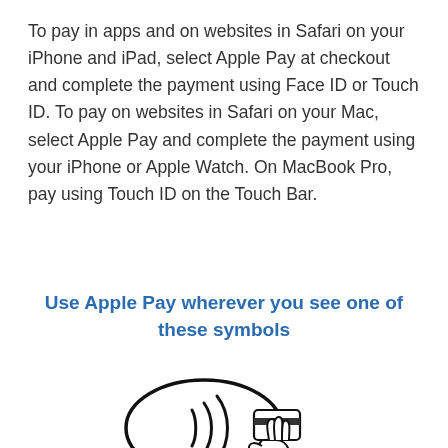To pay in apps and on websites in Safari on your iPhone and iPad, select Apple Pay at checkout and complete the payment using Face ID or Touch ID. To pay on websites in Safari on your Mac, select Apple Pay and complete the payment using your iPhone or Apple Watch. On MacBook Pro, pay using Touch ID on the Touch Bar.
Use Apple Pay wherever you see one of these symbols
[Figure (illustration): Black and white line drawing of a contactless payment symbol (oval with radiating waves) next to a hand holding a card, representing NFC/tap-to-pay symbols.]